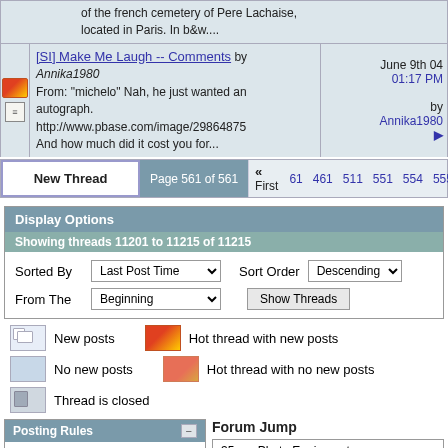of the french cemetery of Pere Lachaise, located in Paris. In b&w....
[SI] Make Me Laugh -- Comments by Annika1980
From: "michelo" Nah, he just wanted an autograph.
http://www.pbase.com/image/29864875
And how much did it cost you for...
June 9th 04 01:17 PM by Annika1980
Page 561 of 561  « First  61  461  511  551  554  555  55
Display Options
Showing threads 11201 to 11215 of 11215
Sorted By: Last Post Time  Sort Order: Descending  From The: Beginning  Show Threads
New posts
Hot thread with new posts
No new posts
Hot thread with no new posts
Thread is closed
Forum Jump
35mm Photo Equipment
Posting Rules
You may not post new threads